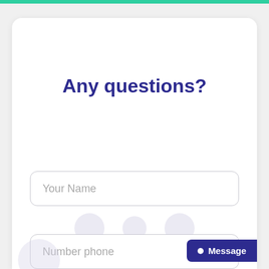Any questions?
Your Name
Number phone
Message